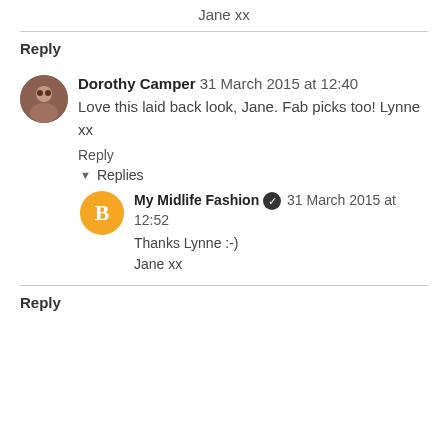Jane xx
Reply
Dorothy Camper 31 March 2015 at 12:40
Love this laid back look, Jane. Fab picks too! Lynne xx
Reply
Replies
My Midlife Fashion 31 March 2015 at 12:52
Thanks Lynne :-)
Jane xx
Reply